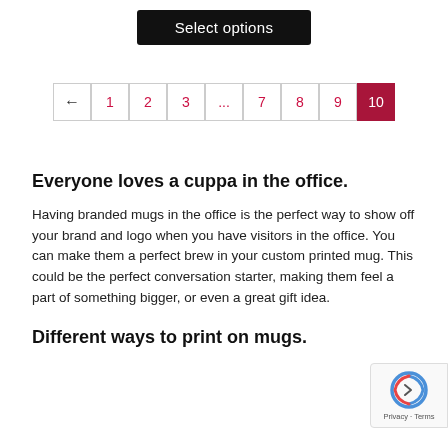[Figure (screenshot): Select options button - black rounded rectangle button with white text]
[Figure (screenshot): Pagination navigation bar with pages: ← 1 2 3 ... 7 8 9 10(active/highlighted in dark red)]
Everyone loves a cuppa in the office.
Having branded mugs in the office is the perfect way to show off your brand and logo when you have visitors in the office. You can make them a perfect brew in your custom printed mug. This could be the perfect conversation starter, making them feel a part of something bigger, or even a great gift idea.
Different ways to print on mugs.
[Figure (screenshot): Google reCAPTCHA badge on right side with recaptcha icon and Privacy - Terms links]